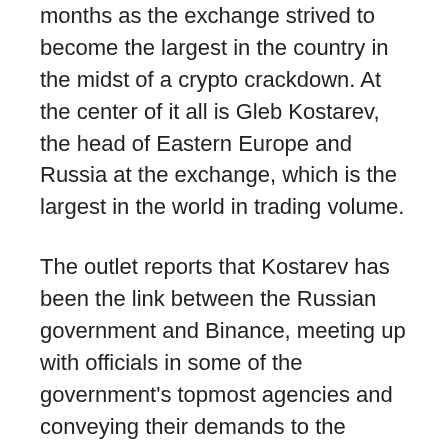months as the exchange strived to become the largest in the country in the midst of a crypto crackdown. At the center of it all is Gleb Kostarev, the head of Eastern Europe and Russia at the exchange, which is the largest in the world in trading volume.
The outlet reports that Kostarev has been the link between the Russian government and Binance, meeting up with officials in some of the government's topmost agencies and conveying their demands to the exchange.
In one such instance, Kostarev met with leaders of the Rosfinmonitoring, the country's financial intelligence agency which is known to be under the Federal Security Service (FSB), the successor of the